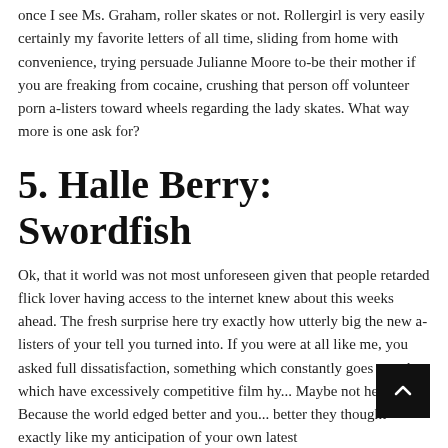once I see Ms. Graham, roller skates or not. Rollergirl is very easily certainly my favorite letters of all time, sliding from home with convenience, trying persuade Julianne Moore to-be their mother if you are freaking from cocaine, crushing that person off volunteer porn a-listers toward wheels regarding the lady skates. What way more is one ask for?
5. Halle Berry: Swordfish
Ok, that it world was not most unforeseen given that people retarded flick lover having access to the internet knew about this weeks ahead. The fresh surprise here try exactly how utterly big the new a-listers of your tell you turned into. If you were at all like me, you asked full dissatisfaction, something which constantly goes together which have excessively competitive film hy... Maybe not here. Because the world edged better and you... better they thought exactly like my anticipation of your own latest